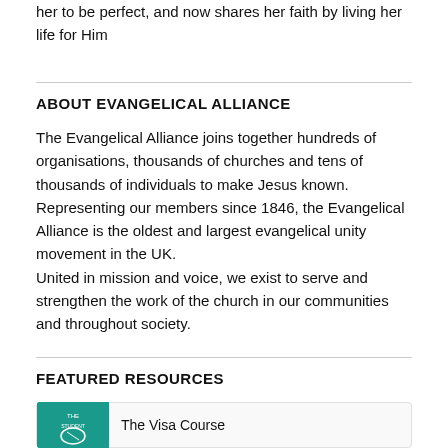her to be perfect, and now shares her faith by living her life for Him
ABOUT EVANGELICAL ALLIANCE
The Evangelical Alliance joins together hundreds of organisations, thousands of churches and tens of thousands of individuals to make Jesus known. Representing our members since 1846, the Evangelical Alliance is the oldest and largest evangelical unity movement in the UK. United in mission and voice, we exist to serve and strengthen the work of the church in our communities and throughout society.
FEATURED RESOURCES
[Figure (other): Card showing The Visa Course resource with teal image thumbnail on the left]